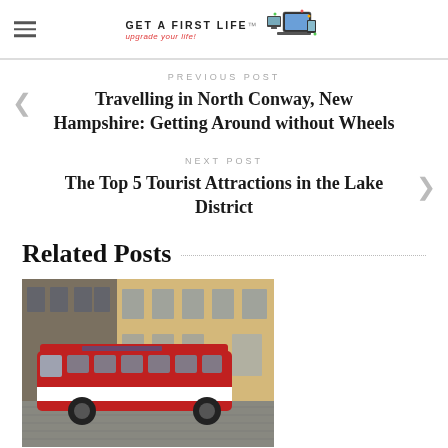Get A First Life — upgrade your life!
PREVIOUS POST
Travelling in North Conway, New Hampshire: Getting Around without Wheels
NEXT POST
The Top 5 Tourist Attractions in the Lake District
Related Posts
[Figure (photo): A red coach bus driving through a cobblestone street next to a yellow historic building]
Coach Holidays – Fact or Fiction